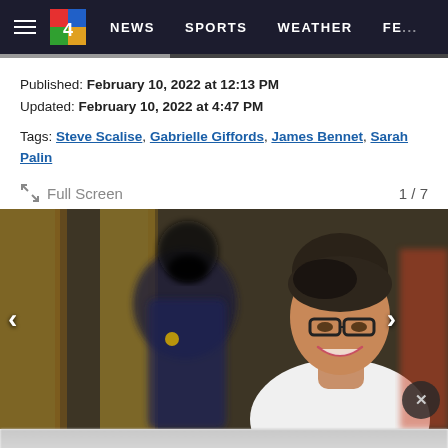≡ 4  NEWS  SPORTS  WEATHER  FE...
Published: February 10, 2022 at 12:13 PM
Updated: February 10, 2022 at 4:47 PM
Tags: Steve Scalise, Gabrielle Giffords, James Bennet, Sarah Palin
Full Screen  1 / 7
[Figure (photo): Woman with dark hair in updo wearing glasses and white jacket, smiling. Blurred person in dark suit with black mask visible in background left. Golden/yellow pillars in background.]